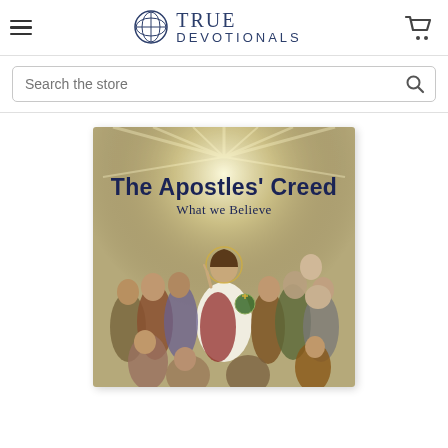True Devotionals
Search the store
[Figure (photo): Book cover of 'The Apostles' Creed: What we Believe' showing Jesus Christ seated among the apostles with divine light radiating above, religious painting style illustration on book cover.]